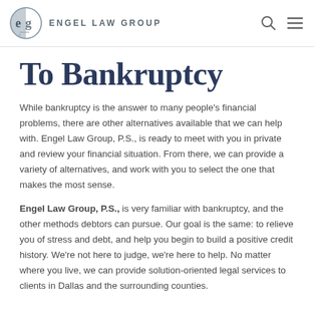ENGEL LAW GROUP
To Bankruptcy
While bankruptcy is the answer to many people's financial problems, there are other alternatives available that we can help with. Engel Law Group, P.S., is ready to meet with you in private and review your financial situation. From there, we can provide a variety of alternatives, and work with you to select the one that makes the most sense.
Engel Law Group, P.S., is very familiar with bankruptcy, and the other methods debtors can pursue. Our goal is the same: to relieve you of stress and debt, and help you begin to build a positive credit history. We're not here to judge, we're here to help. No matter where you live, we can provide solution-oriented legal services to clients in Dallas and the surrounding counties.